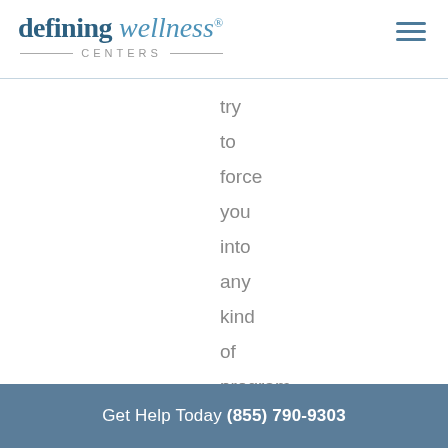defining wellness® CENTERS
try
to
force
you
into
any
kind
of
program,
and
Get Help Today (855) 790-9303